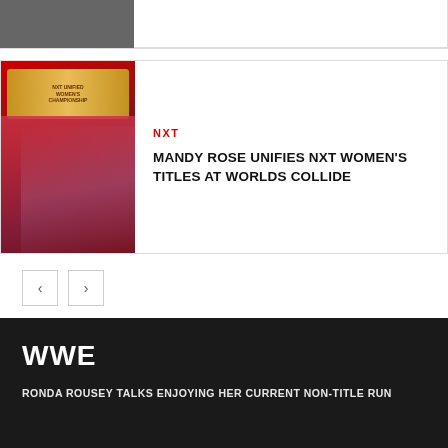[Figure (photo): Partial top card with image on left (dark/grey) and white content area on right, cut off at top]
[Figure (photo): Mandy Rose holding the NXT Unified Women's Championship belt, wearing red white and blue wrestling attire, against a red and dark background with NXT branding]
NXT
MANDY ROSE UNIFIES NXT WOMEN'S TITLES AT WORLDS COLLIDE
< >
WWE
RONDA ROUSEY TALKS ENJOYING HER CURRENT NON-TITLE RUN